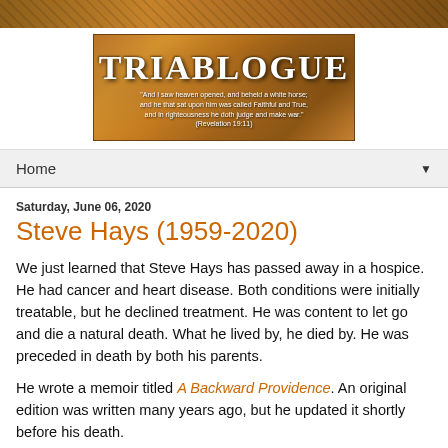[Figure (illustration): Decorative banner strip with brown/gold textured background at top of page]
[Figure (logo): Triablogue website logo with ornate brown/gold background, white bold serif text reading TRIABLOGUE, and a biblical quote from Revelation 19:11 in smaller white text below]
Home ▼
Saturday, June 06, 2020
Steve Hays (1959-2020)
We just learned that Steve Hays has passed away in a hospice. He had cancer and heart disease. Both conditions were initially treatable, but he declined treatment. He was content to let go and die a natural death. What he lived by, he died by. He was preceded in death by both his parents.
He wrote a memoir titled A Backward Providence. An original edition was written many years ago, but he updated it shortly before his death.